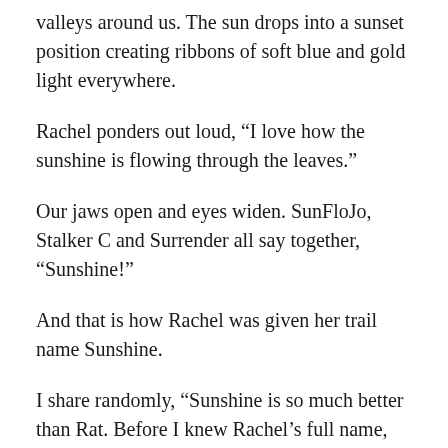valleys around us. The sun drops into a sunset position creating ribbons of soft blue and gold light everywhere.
Rachel ponders out loud, “I love how the sunshine is flowing through the leaves.”
Our jaws open and eyes widen. SunFloJo, Stalker C and Surrender all say together, “Sunshine!”
And that is how Rachel was given her trail name Sunshine.
I share randomly, “Sunshine is so much better than Rat. Before I knew Rachel’s full name, she was in my phone contacts as Rachel AT which looks like RAT if you read it too fast.”
Stalker C makes a note of that comment and will